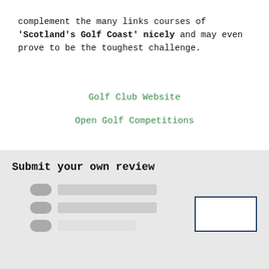complement the many links courses of 'Scotland's Golf Coast' nicely and may even prove to be the toughest challenge.
Golf Club Website
Open Golf Competitions
Submit your own review
[Figure (other): Web form with toggle buttons and input fields for submitting a review]